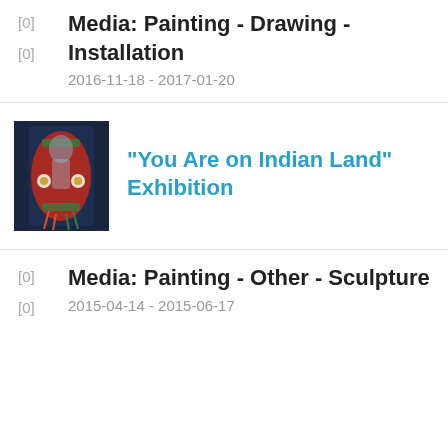Media: Painting - Drawing - Installation
2016-11-18 - 2017-01-20
[Figure (photo): Thumbnail photo of a colorful Indigenous regalia or artwork displayed against a dark background, featuring red, green, and decorative circular elements.]
“You Are on Indian Land” Exhibition
Media: Painting - Other - Sculpture
2015-04-14 - 2015-06-17